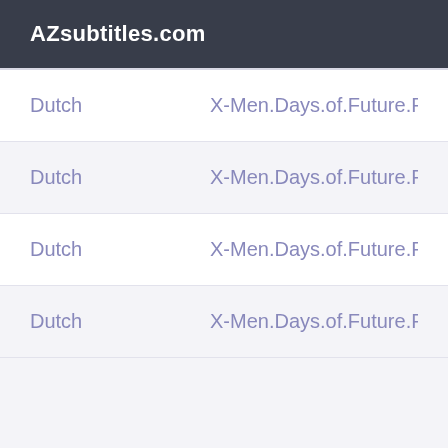AZsubtitles.com
| Language | Filename |
| --- | --- |
| Dutch | X-Men.Days.of.Future.Past.2014.1080p.B |
| Dutch | X-Men.Days.of.Future.Past.2014.1080p.B |
| Dutch | X-Men.Days.of.Future.Past.2014.720p.H |
| Dutch | X-Men.Days.of.Future.Past.2014.720p.H |